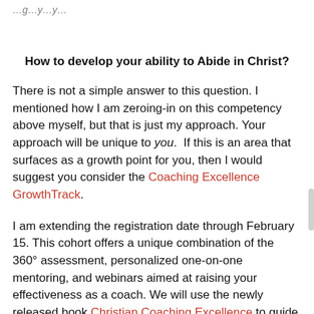How to develop your ability to Abide in Christ?
There is not a simple answer to this question. I mentioned how I am zeroing-in on this competency above myself, but that is just my approach. Your approach will be unique to you. If this is an area that surfaces as a growth point for you, then I would suggest you consider the Coaching Excellence GrowthTrack.
I am extending the registration date through February 15. This cohort offers a unique combination of the 360° assessment, personalized one-on-one mentoring, and webinars aimed at raising your effectiveness as a coach. We will use the newly released book Christian Coaching Excellence to guide participants along their coaching development journey.
If you are looking for a way to increase your coaching